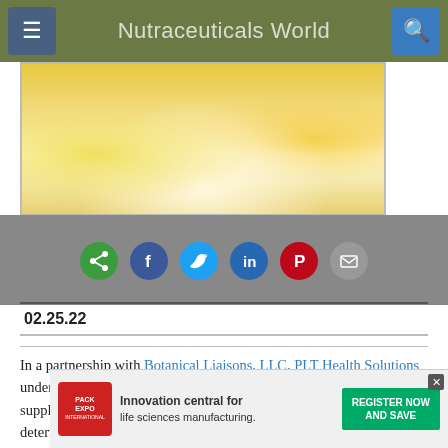Nutraceuticals World
[Figure (photo): Food ingredients image showing yellow/golden spices or powders in a bowl with other ingredients]
[Figure (infographic): Social sharing icons: share (green), Facebook (blue), Twitter (light blue), LinkedIn (blue), Pinterest (red), Email (gray)]
02.25.22
In a partnership with Botanical Liaisons, LLC, PLT Health Solutions undertook a sustainability audit of the Boswellia serrata gum resin supply chain, including harvesting and collection practices, to determine the impact of the
[Figure (screenshot): Pack Expo advertisement banner: Innovation central for life sciences manufacturing. Register Now and Save.]